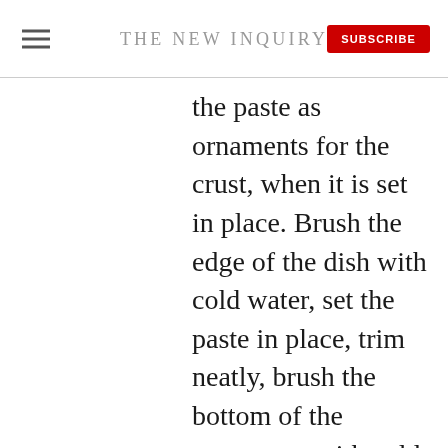THE NEW INQUIRY
the paste as ornaments for the crust, when it is set in place. Brush the edge of the dish with cold water, set the paste in place, trim neatly, brush the bottom of the ornaments with cold water and set them in place. Bake about twenty five minutes.